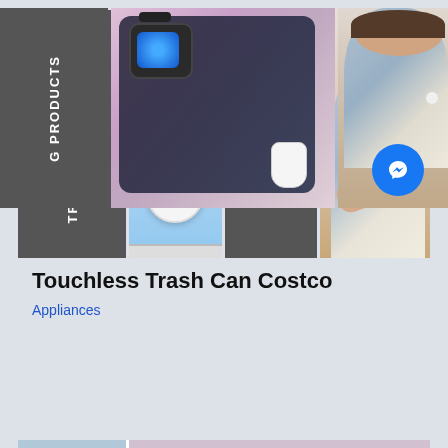[Figure (photo): Collage with 'TRENDING PRODUCTS IN 2022' label. Left dark panel with vertical white text 'TRENDING PRODUCTS'. Center top: photo of Apple Watch, iPhone and AirPods on wireless charger. Center bottom-left: circular tracker device on blue background. Center bottom-right: dark panel with white text 'IN 2022'. Right: woman in knit sweater holding wireless earbuds.]
Touchless Trash Can Costco
Appliances
[Figure (photo): Partial repeat of the trending products collage. Left dark panel with partial vertical text 'G PRODUCTS'. Center: Apple Watch and AirPods on wireless charger. Right: partial woman in knit sweater. Messenger chat button overlaid in bottom right.]